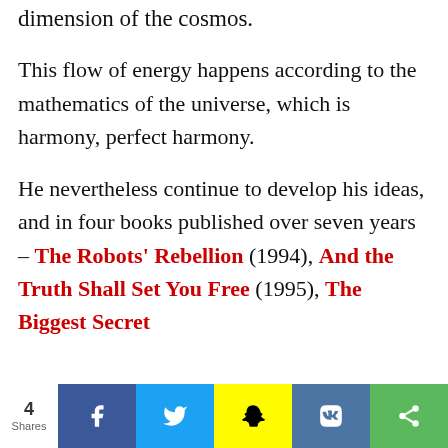dimension of the cosmos.
This flow of energy happens according to the mathematics of the universe, which is harmony, perfect harmony.
He nevertheless continue to develop his ideas, and in four books published over seven years – The Robots' Rebellion (1994), And the Truth Shall Set You Free (1995), The Biggest Secret
4 Shares | Facebook | Twitter | Snapchat | VK | Share